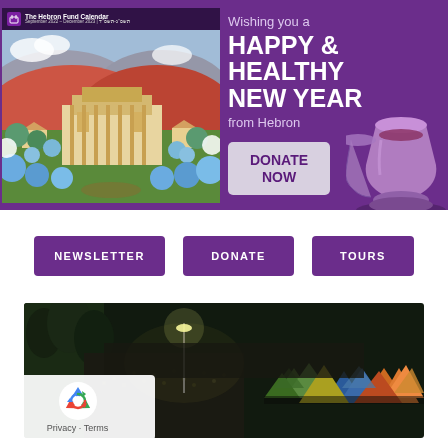[Figure (illustration): Hebron Fund banner with purple background. Left side shows The Hebron Fund Calendar cover with illustrated landscape painting of ancient buildings and gardens. Right side shows text 'Wishing you a HAPPY & HEALTHY NEW YEAR from Hebron' with a Donate Now button and Kiddush cup graphic.]
[Figure (other): Three purple navigation buttons: NEWSLETTER, DONATE, TOURS on white background]
[Figure (photo): Aerial photograph of large crowd gathering at night with colorful tents spread across an open area, lit by lights, surrounded by trees]
[Figure (other): Google reCAPTCHA widget overlay with recycling arrow logo and Privacy - Terms text]